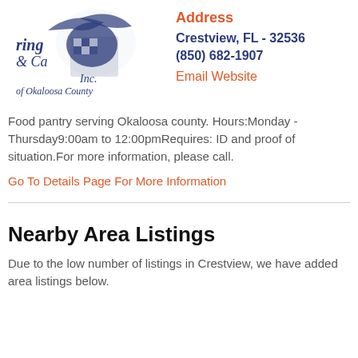[Figure (logo): Logo of a caring/catering organization of Okaloosa County with eagle/bird imagery and text 'Inc. of Okaloosa County']
Address
Crestview, FL - 32536
(850) 682-1907
Email Website
Food pantry serving Okaloosa county. Hours:Monday - Thursday9:00am to 12:00pmRequires: ID and proof of situation.For more information, please call.
Go To Details Page For More Information
Nearby Area Listings
Due to the low number of listings in Crestview, we have added area listings below.